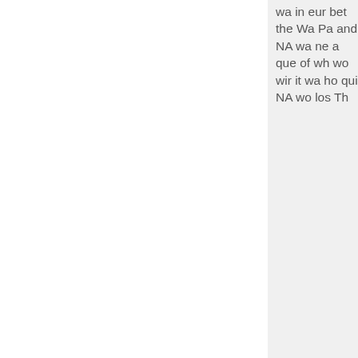wa in eur bet the Wa Pa and NA wa ne a que of wh wo wir it wa ho qui NA wo los Th